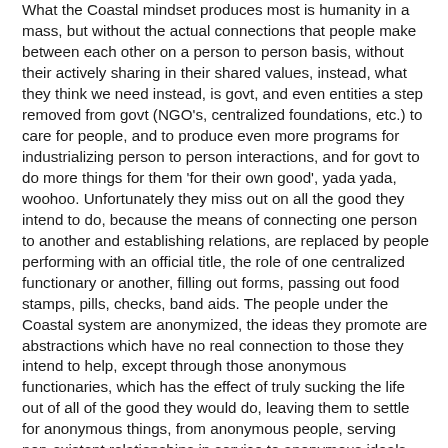What the Coastal mindset produces most is humanity in a mass, but without the actual connections that people make between each other on a person to person basis, without their actively sharing in their shared values, instead, what they think we need instead, is govt, and even entities a step removed from govt (NGO's, centralized foundations, etc.) to care for people, and to produce even more programs for industrializing person to person interactions, and for govt to do more things for them 'for their own good', yada yada, woohoo. Unfortunately they miss out on all the good they intend to do, because the means of connecting one person to another and establishing relations, are replaced by people performing with an official title, the role of one centralized functionary or another, filling out forms, passing out food stamps, pills, checks, band aids. The people under the Coastal system are anonymized, the ideas they promote are abstractions which have no real connection to those they intend to help, except through those anonymous functionaries, which has the effect of truly sucking the life out of all of the good they would do, leaving them to settle for anonymous things, from anonymous people, serving non-existent relationships in service to anonymous ideals.